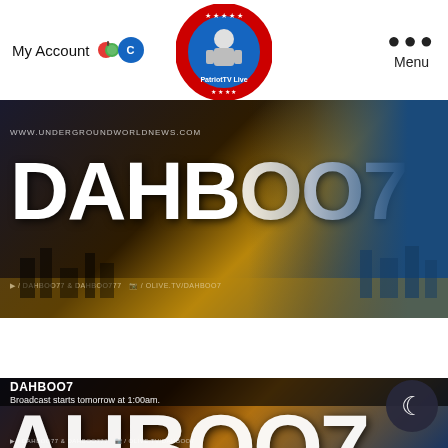My Account  •••  Menu
[Figure (logo): PatriotTV Live circular logo with patriot figure in center, red and blue border with stars]
[Figure (photo): DAHBOO7 banner image with large white text DAHBOO7, city skyline background with dramatic lighting, person in blue shirt on right side. URL: WWW.UNDERGROUNDWORLDNEWS.COM]
[Figure (screenshot): DAHBOO7 video card with title DAHBOO7 and text 'Broadcast starts tomorrow at 1:00am.' Large AHBOO7 text visible on banner thumbnail, moon/dark mode button in lower right corner]